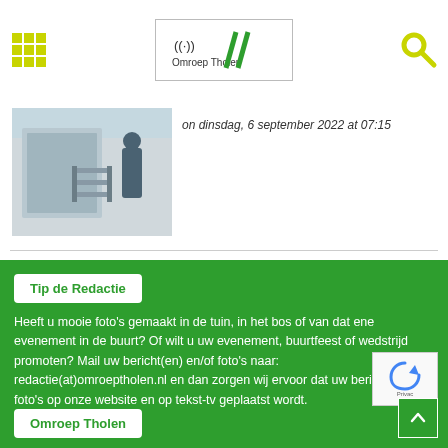Omroep Tholen - navigation header with logo and search
[Figure (photo): Photo of industrial/mechanical equipment on a vehicle, viewed from outside]
on dinsdag, 6 september 2022 at 07:15
Tip de Redactie
Heeft u mooie foto's gemaakt in de tuin, in het bos of van dat ene evenement in de buurt? Of wilt u uw evenement, buurtfeest of wedstrijd promoten? Mail uw bericht(en) en/of foto's naar: redactie(at)omroeptholen.nl en dan zorgen wij ervoor dat uw bericht en/of foto's op onze website en op tekst-tv geplaatst wordt.
Omroep Tholen